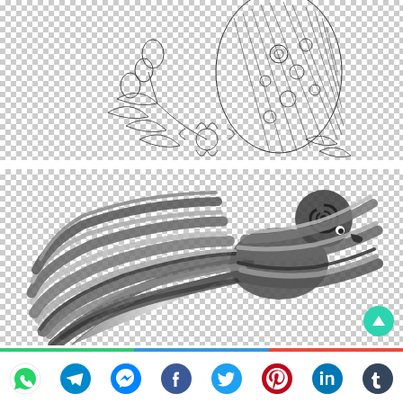[Figure (illustration): Black and white line drawing of a decorative bird/owl with intricate textures, surrounded by flowers and leaves, on a transparent (checkered) background]
[Figure (illustration): Dark gray stylized peacock/bird with flowing swirling feathers rendered in a decorative style, with a circular spiral head, on a transparent (checkered) background. An upward-arrow teal circular button appears in the lower right.]
[Figure (other): Social sharing bar with icons for WhatsApp (green), Telegram (blue), Messenger (blue), Facebook (blue), Twitter (blue), Pinterest (red), LinkedIn (blue), and Tumblr (blue), separated from content by a multi-colored line (green, blue, red).]